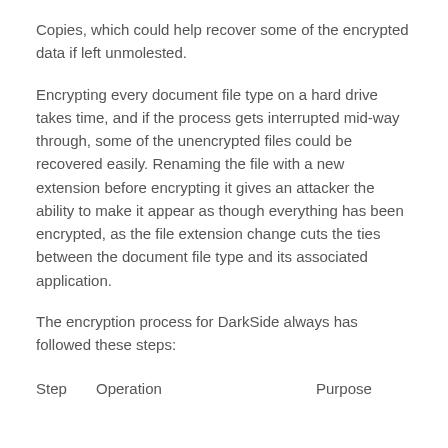Copies, which could help recover some of the encrypted data if left unmolested.
Encrypting every document file type on a hard drive takes time, and if the process gets interrupted mid-way through, some of the unencrypted files could be recovered easily. Renaming the file with a new extension before encrypting it gives an attacker the ability to make it appear as though everything has been encrypted, as the file extension change cuts the ties between the document file type and its associated application.
The encryption process for DarkSide always has followed these steps:
| Step | Operation | Purpose |
| --- | --- | --- |